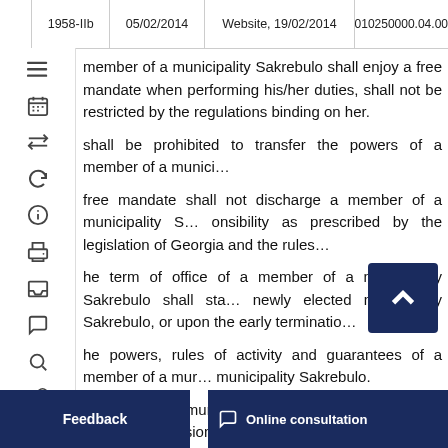1958-IIb | 05/02/2014 | Website, 19/02/2014 | 010250000.04.00
member of a municipality Sakrebulo shall enjoy a free mandate when performing his/her duties, shall not be restricted by the regulations binding on her.
shall be prohibited to transfer the powers of a member of a munici...
free mandate shall not discharge a member of a municipality S... onsibility as prescribed by the legislation of Georgia and the rules...
he term of office of a member of a municipality Sakrebulo shall sta... newly elected municipality Sakrebulo, or upon the early terminatio...
he powers, rules of activity and guarantees of a member of a mur... municipality Sakrebulo.
. member of a municipality Sakrebulo (except for the Chairper... missions of the municipality Sakrebulo. A member of a municipal... nicipality Sakrebulo, but of not more than two in to... e Cha... blished by Article 28(22) of this Law, be a member of a commissio...
f a member of a municipa... k of the municipality Sakrebulo, its commissions, factions and inte...